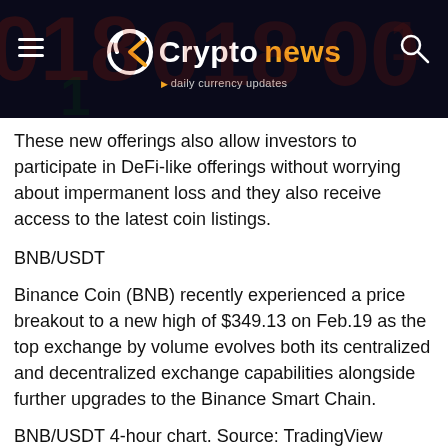[Figure (logo): Cryptonews logo with dark background header featuring hamburger menu on left, C logo mark with orange checkmark, 'Crypto' in white and 'news' in orange text, 'daily currency updates' tagline, and search icon on right. Background shows faint red/orange numeric digits.]
These new offerings also allow investors to participate in DeFi-like offerings without worrying about impermanent loss and they also receive access to the latest coin listings.
BNB/USDT
Binance Coin (BNB) recently experienced a price breakout to a new high of $349.13 on Feb.19 as the top exchange by volume evolves both its centralized and decentralized exchange capabilities alongside further upgrades to the Binance Smart Chain.
BNB/USDT 4-hour chart. Source: TradingView